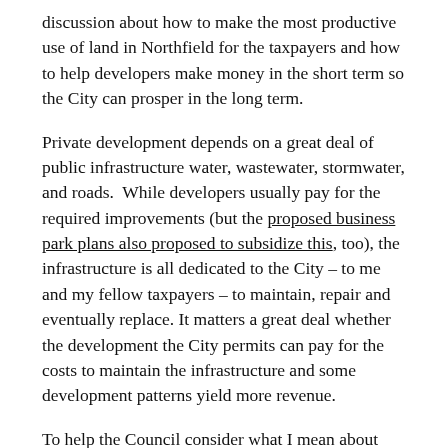discussion about how to make the most productive use of land in Northfield for the taxpayers and how to help developers make money in the short term so the City can prosper in the long term.
Private development depends on a great deal of public infrastructure water, wastewater, stormwater, and roads. While developers usually pay for the required improvements (but the proposed business park plans also proposed to subsidize this, too), the infrastructure is all dedicated to the City – to me and my fellow taxpayers – to maintain, repair and eventually replace. It matters a great deal whether the development the City permits can pay for the costs to maintain the infrastructure and some development patterns yield more revenue.
To help the Council consider what I mean about more productive vs. less productive development patterns,